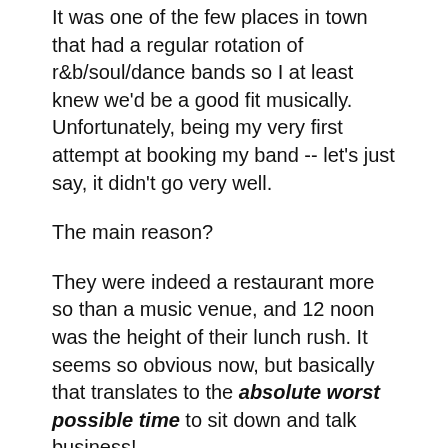It was one of the few places in town that had a regular rotation of r&b/soul/dance bands so I at least knew we'd be a good fit musically. Unfortunately, being my very first attempt at booking my band -- let's just say, it didn't go very well.
The main reason?
They were indeed a restaurant more so than a music venue, and 12 noon was the height of their lunch rush. It seems so obvious now, but basically that translates to the absolute worst possible time to sit down and talk business!
Lesson learned.
MORE: What Every Band Needs on Their Website